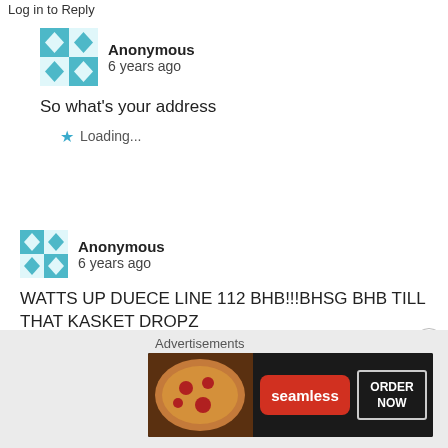Log in to Reply
Anonymous
6 years ago
So what's your address
Loading...
Anonymous
6 years ago
WATTS UP DUECE LINE 112 BHB!!!BHSG BHB TILL THAT KASKET DROPZ
Like
Log in to Reply
Advertisements
[Figure (screenshot): Seamless food delivery advertisement banner with pizza image, Seamless logo in red, and ORDER NOW button]